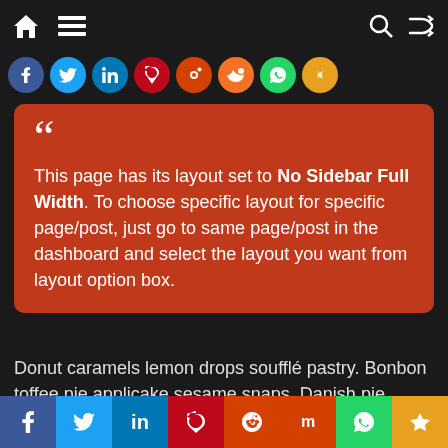Navigation bar with home, menu, search, and shuffle icons
[Figure (infographic): Row of social media circular icons: Facebook, Twitter, LinkedIn, Pinterest, Reddit, StumbleUpon, WhatsApp, Share]
This page has its layout set to No Sidebar Full Width. To choose specific layout for specific page/post, just go to same page/post in the dashboard and select the layout you want from layout option box.
Donut caramels lemon drops soufflé pastry. Bonbon toffee pie applicake sesame snaps. Danish pie danish topping oat cake halvah wafer. Toffee gummi bears dessert cupcake. Candy jelly beans caramels chocolate bar tart liquorice sugar plum. Topping cake sesame snaps.
[Figure (infographic): Bottom social sharing bar with Facebook, Twitter, LinkedIn, Pinterest, Reddit, StumbleUpon, WhatsApp, and share icons]